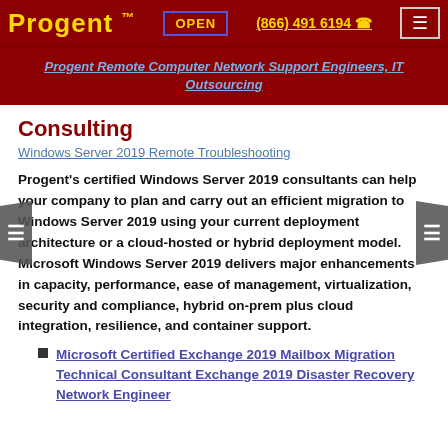Progent™  OPEN  (866) 491 6194  ☎
Progent Remote Computer Network Support Engineers, IT Outsourcing
Consulting
Windows Server 2019 Remote Troubleshooting
Progent's certified Windows Server 2019 consultants can help your company to plan and carry out an efficient migration to Windows Server 2019 using your current deployment architecture or a cloud-hosted or hybrid deployment model. Microsoft Windows Server 2019 delivers major enhancements in capacity, performance, ease of management, virtualization, security and compliance, hybrid on-prem plus cloud integration, resilience, and container support.
Microsoft Certified Exchange 2019 Mailbox Migration Technical Consultant Exchange 2019 Disaster Recovery Network Engineer